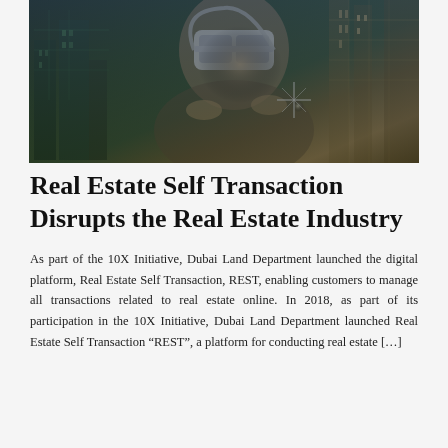[Figure (photo): A man wearing a VR (virtual reality) headset, with a city skyline and digital data overlays composited in the background, suggesting technology and real estate innovation.]
Real Estate Self Transaction Disrupts the Real Estate Industry
As part of the 10X Initiative, Dubai Land Department launched the digital platform, Real Estate Self Transaction, REST, enabling customers to manage all transactions related to real estate online. In 2018, as part of its participation in the 10X Initiative, Dubai Land Department launched Real Estate Self Transaction “REST”, a platform for conducting real estate […]